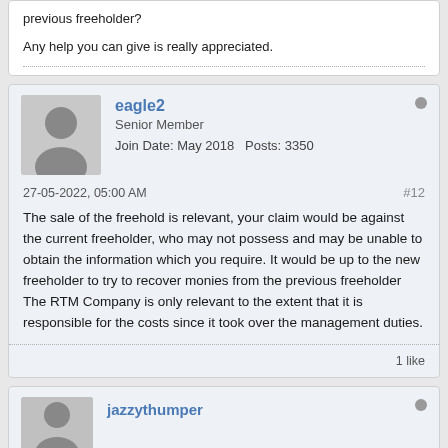previous freeholder?
Any help you can give is really appreciated.
eagle2
Senior Member
Join Date: May 2018   Posts: 3350
27-05-2022, 05:00 AM
#12
The sale of the freehold is relevant, your claim would be against the current freeholder, who may not possess and may be unable to obtain the information which you require. It would be up to the new freeholder to try to recover monies from the previous freeholder The RTM Company is only relevant to the extent that it is responsible for the costs since it took over the management duties.
1 like
jazzythumper